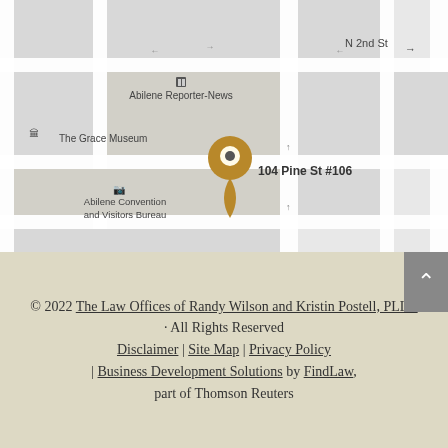[Figure (map): Google Maps screenshot showing 104 Pine St #106 in Abilene, TX. Map shows streets including N 2nd St, a golden map pin marker, and nearby landmarks including Abilene Reporter-News and Abilene Convention and Visitors Bureau, and The Grace Museum.]
© 2022 The Law Offices of Randy Wilson and Kristin Postell, PLLC · All Rights Reserved Disclaimer | Site Map | Privacy Policy | Business Development Solutions by FindLaw, part of Thomson Reuters